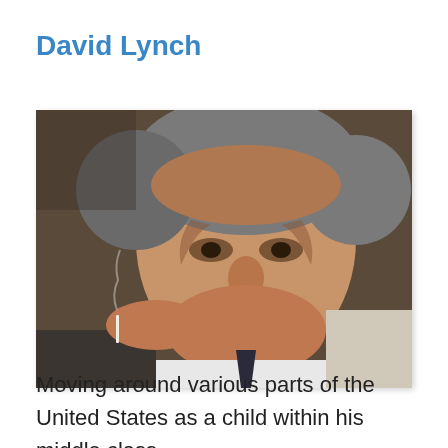David Lynch
[Figure (photo): Close-up photograph of David Lynch, an older man with grey tousled hair, holding a cigarette, wearing a white shirt and dark tie, looking slightly off-camera with a serious expression.]
Moving around various parts of the United States as a child within his middle class